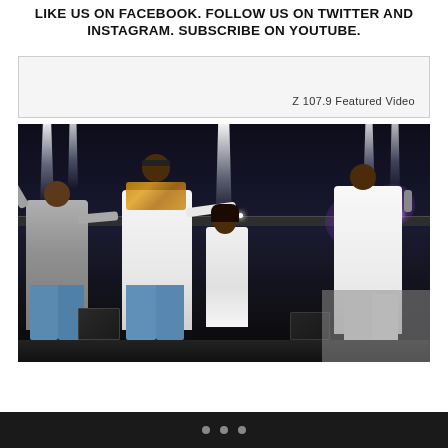LIKE US ON FACEBOOK. FOLLOW US ON TWITTER AND INSTAGRAM. SUBSCRIBE ON YOUTUBE.
Z 107.9 Featured Video
[Figure (photo): Concert photo showing three performers on a large outdoor stage. Left performer wears a gray Jordan hoodie and jeans with arms raised. Center performer wears a white shirt with leopard-print accents and jeans. Right performer wears all white and holds a microphone. A female dancer in white stands in the background. Stage has dramatic lighting with white beams, a truss bar, and speakers.]
• • •